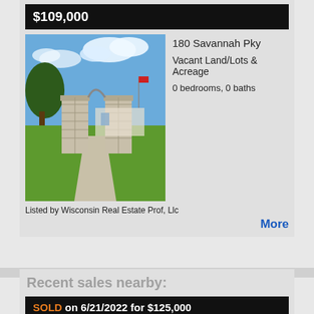$109,000
[Figure (photo): Exterior photo of a property entrance with two stone pillars and an arched gate, green lawn, and blue sky with clouds in the background.]
180 Savannah Pky
Vacant Land/Lots & Acreage
0 bedrooms, 0 baths
Listed by Wisconsin Real Estate Prof, Llc
More
Recent sales nearby:
SOLD on 6/21/2022 for $125,000
16 N Main St
[Figure (photo): Partial view of a property photo at the bottom of the page.]